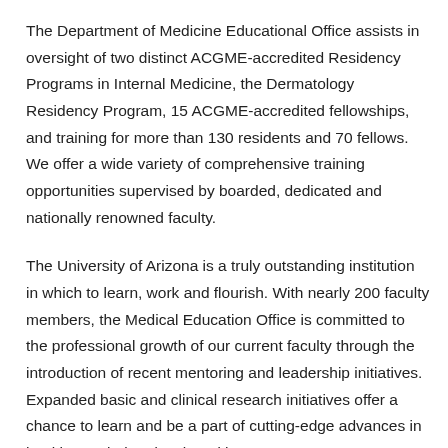The Department of Medicine Educational Office assists in oversight of two distinct ACGME-accredited Residency Programs in Internal Medicine, the Dermatology Residency Program, 15 ACGME-accredited fellowships, and training for more than 130 residents and 70 fellows. We offer a wide variety of comprehensive training opportunities supervised by boarded, dedicated and nationally renowned faculty.
The University of Arizona is a truly outstanding institution in which to learn, work and flourish. With nearly 200 faculty members, the Medical Education Office is committed to the professional growth of our current faculty through the introduction of recent mentoring and leadership initiatives. Expanded basic and clinical research initiatives offer a chance to learn and be a part of cutting-edge advances in health care being developed here.